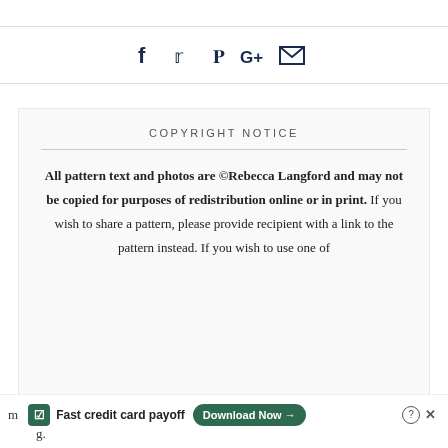[Figure (other): Social share icons bar: Facebook, Twitter, Pinterest, Google+, Email icons in dark navy color]
COPYRIGHT NOTICE
All pattern text and photos are ©Rebecca Langford and may not be copied for purposes of redistribution online or in print. If you wish to share a pattern, please provide recipient with a link to the pattern instead. If you wish to use one of
[Figure (other): Advertisement banner: Tally app - Fast credit card payoff, with Download Now button]